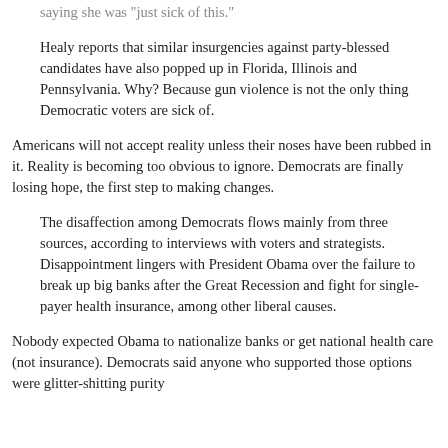saying she was 'just sick of this.'
Healy reports that similar insurgencies against party-blessed candidates have also popped up in Florida, Illinois and Pennsylvania. Why? Because gun violence is not the only thing Democratic voters are sick of.
Americans will not accept reality unless their noses have been rubbed in it. Reality is becoming too obvious to ignore. Democrats are finally losing hope, the first step to making changes.
The disaffection among Democrats flows mainly from three sources, according to interviews with voters and strategists. Disappointment lingers with President Obama over the failure to break up big banks after the Great Recession and fight for single-payer health insurance, among other liberal causes.
Nobody expected Obama to nationalize banks or get national health care (not insurance). Democrats said anyone who supported those options were glitter-shitting purity...